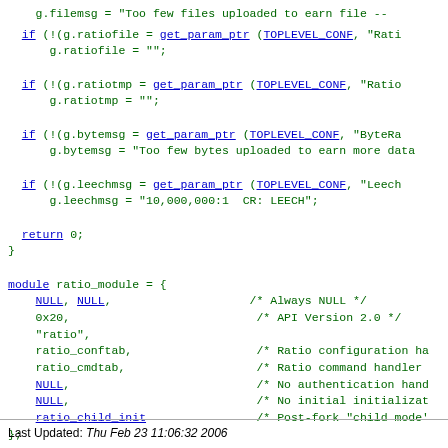g.filemsg = "Too few files uploaded to earn file --
  if (!(g.ratiofile = get_param_ptr (TOPLEVEL_CONF, "Rati
    g.ratiofile = "";

  if (!(g.ratiotmp = get_param_ptr (TOPLEVEL_CONF, "Ratio
    g.ratiotmp = "";

  if (!(g.bytemsg = get_param_ptr (TOPLEVEL_CONF, "ByteRa
    g.bytemsg = "Too few bytes uploaded to earn more data

  if (!(g.leechmsg = get_param_ptr (TOPLEVEL_CONF, "Leech
    g.leechmsg = "10,000,000:1  CR: LEECH";

  return 0;
}

module ratio_module = {
    NULL, NULL,                     /* Always NULL */
    0x20,                           /* API Version 2.0 */
    "ratio",
    ratio_conftab,                  /* Ratio configuration ha
    ratio_cmdtab,                   /* Ratio command handler
    NULL,                           /* No authentication hand
    NULL,                           /* No initial initializat
    ratio_child_init                /* Post-fork "child mode'
Last Updated: Thu Feb 23 11:06:32 2006